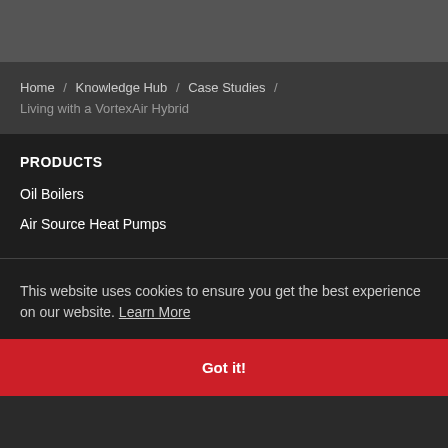Home / Knowledge Hub / Case Studies / Living with a VortexAir Hybrid
PRODUCTS
Oil Boilers
Air Source Heat Pumps
This website uses cookies to ensure you get the best experience on our website. Learn More
Got it!